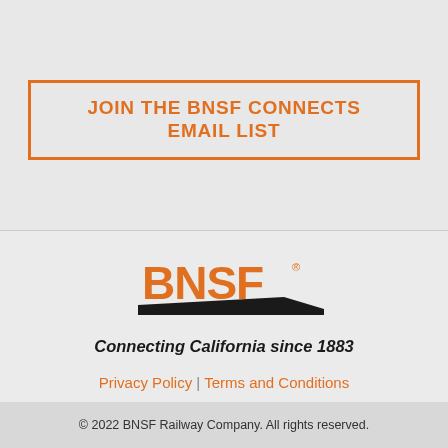JOIN THE BNSF CONNECTS EMAIL LIST
[Figure (logo): BNSF Railway logo with orange bold text 'BNSF' and black swoosh underline, with 'RAILWAY' in smaller text below]
Connecting California since 1883
Privacy Policy | Terms and Conditions
© 2022 BNSF Railway Company. All rights reserved.